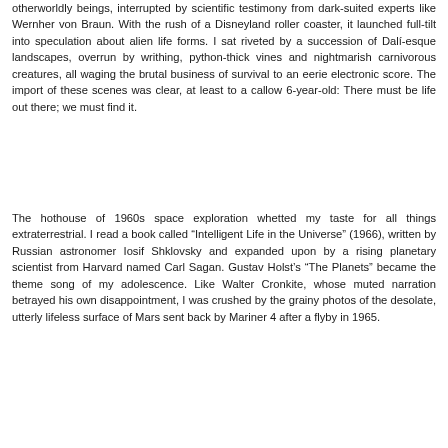otherworldly beings, interrupted by scientific testimony from dark-suited experts like Wernher von Braun. With the rush of a Disneyland roller coaster, it launched full-tilt into speculation about alien life forms. I sat riveted by a succession of Dalí-esque landscapes, overrun by writhing, python-thick vines and nightmarish carnivorous creatures, all waging the brutal business of survival to an eerie electronic score. The import of these scenes was clear, at least to a callow 6-year-old: There must be life out there; we must find it.
The hothouse of 1960s space exploration whetted my taste for all things extraterrestrial. I read a book called "Intelligent Life in the Universe" (1966), written by Russian astronomer Iosif Shklovsky and expanded upon by a rising planetary scientist from Harvard named Carl Sagan. Gustav Holst's "The Planets" became the theme song of my adolescence. Like Walter Cronkite, whose muted narration betrayed his own disappointment, I was crushed by the grainy photos of the desolate, utterly lifeless surface of Mars sent back by Mariner 4 after a flyby in 1965.